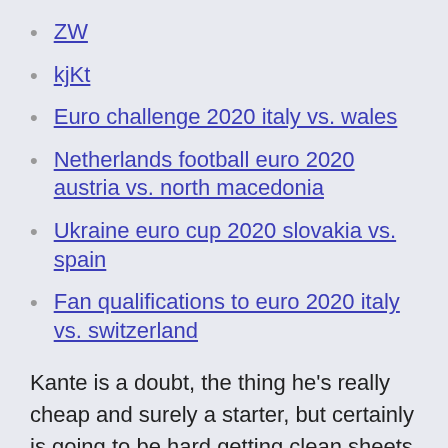ZW
kjKt
Euro challenge 2020 italy vs. wales
Netherlands football euro 2020 austria vs. north macedonia
Ukraine euro cup 2020 slovakia vs. spain
Fan qualifications to euro 2020 italy vs. switzerland
Kante is a doubt, the thing he's really cheap and surely a starter, but certainly is going to be hard getting clean sheets in that group. I'll see if I get a better midfielder for 5.5 or 6 >> Jun 04, 2021 · Euro 2020, Live Streaming: When And Where To Watch - Squads,